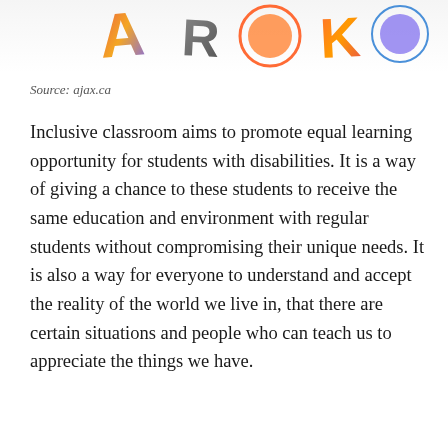[Figure (photo): Colorful decorative letters or alphabet toys photographed from above on a white background, showing vibrant rainbow colors]
Source: ajax.ca
Inclusive classroom aims to promote equal learning opportunity for students with disabilities. It is a way of giving a chance to these students to receive the same education and environment with regular students without compromising their unique needs. It is also a way for everyone to understand and accept the reality of the world we live in, that there are certain situations and people who can teach us to appreciate the things we have.